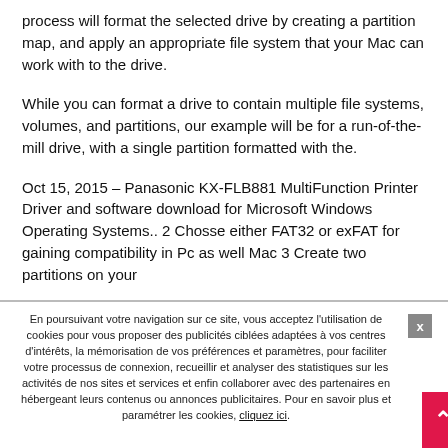process will format the selected drive by creating a partition map, and apply an appropriate file system that your Mac can work with to the drive.
While you can format a drive to contain multiple file systems, volumes, and partitions, our example will be for a run-of-the-mill drive, with a single partition formatted with the.
Oct 15, 2015 – Panasonic KX-FLB881 MultiFunction Printer Driver and software download for Microsoft Windows Operating Systems.. 2 Chosse either FAT32 or exFAT for gaining compatibility in Pc as well Mac 3 Create two partitions on your
En poursuivant votre navigation sur ce site, vous acceptez l'utilisation de cookies pour vous proposer des publicités ciblées adaptées à vos centres d'intérêts, la mémorisation de vos préférences et paramètres, pour faciliter votre processus de connexion, recueillir et analyser des statistiques sur les activités de nos sites et services et enfin collaborer avec des partenaires en hébergeant leurs contenus ou annonces publicitaires. Pour en savoir plus et paramétrer les cookies, cliquez ici.